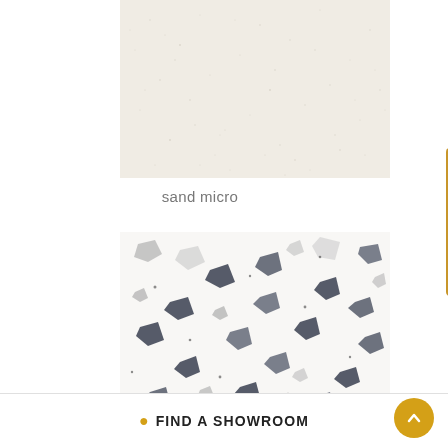[Figure (photo): Sand micro tile texture — smooth off-white/cream surface with very fine specks]
sand micro
[Figure (photo): Terrazzo tile texture — white background with scattered dark blue, grey, and white aggregate chips]
FIND A SHOWROOM
[Figure (other): Request a Quote vertical tab button on the right side]
[Figure (other): Scroll-to-top circular gold button]